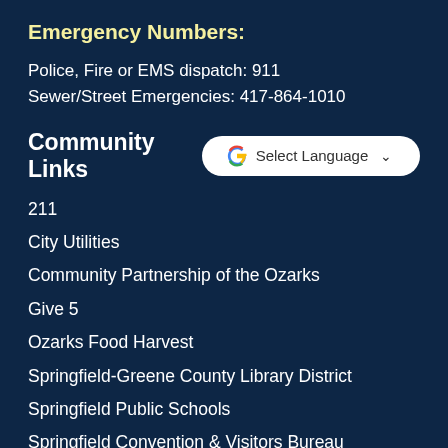Emergency Numbers:
Police, Fire or EMS dispatch: 911
Sewer/Street Emergencies: 417-864-1010
Community Links
[Figure (other): Google Translate widget with 'Select Language' dropdown]
211
City Utilities
Community Partnership of the Ozarks
Give 5
Ozarks Food Harvest
Springfield-Greene County Library District
Springfield Public Schools
Springfield Convention & Visitors Bureau
Springfield Area Chamber of Commerce